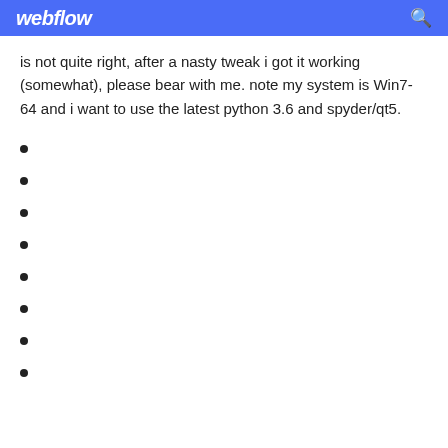webflow
is not quite right, after a nasty tweak i got it working (somewhat), please bear with me. note my system is Win7-64 and i want to use the latest python 3.6 and spyder/qt5.